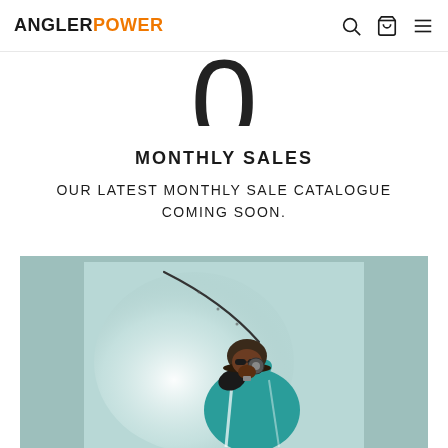ANGLERPOWER — navigation with search, cart, and menu icons
[Figure (other): Partial view of a large numeral '0' or circular arc shape, cropped at the bottom]
MONTHLY SALES
OUR LATEST MONTHLY SALE CATALOGUE COMING SOON.
[Figure (photo): A person wearing a teal jacket and dark cap holding a fishing rod with a reel, photographed from a low angle against a bright sky background, framed in a teal/sage colored border]